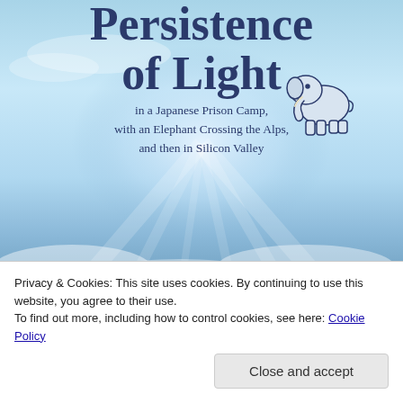[Figure (illustration): Book cover image showing 'Persistence of Light' title in dark blue serif font over a blue sky with clouds and light rays. An elephant illustration is in the upper right. Subtitle: 'in a Japanese Prison Camp, with an Elephant Crossing the Alps, and then in Silicon Valley'.]
Privacy & Cookies: This site uses cookies. By continuing to use this website, you agree to their use.
To find out more, including how to control cookies, see here: Cookie Policy
Close and accept